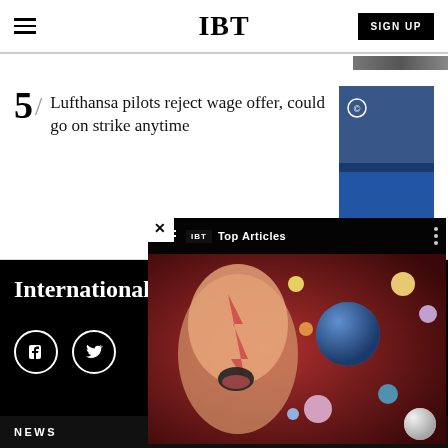IBT
5/ Lufthansa pilots reject wage offer, could go on strike anytime
[Figure (screenshot): IBT Top Articles video overlay popup with David Bowie-style face image and colorful planet/sphere graphics on red background]
International Business Times
NEWS